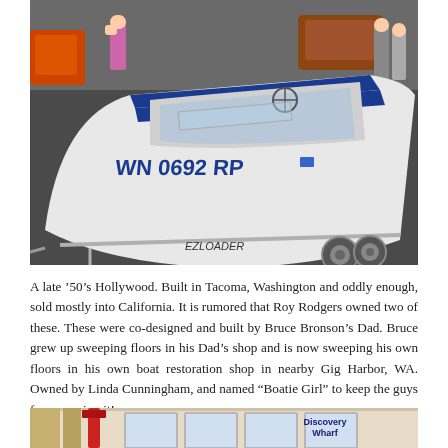[Figure (photo): A white speedboat labeled 'WN 0692 RP' with blue accents on a trailer inside what appears to be a boat show or museum. 'EZLOADER' is visible on the trailer. Several people and other boats are visible in the background.]
A late '50's Hollywood. Built in Tacoma, Washington and oddly enough, sold mostly into California. It is rumored that Roy Rodgers owned two of these. These were co-designed and built by Bruce Bronson's Dad. Bruce grew up sweeping floors in his Dad's shop and is now sweeping his own floors in his own boat restoration shop in nearby Gig Harbor, WA. Owned by Linda Cunningham, and named "Boatie Girl" to keep the guys from running it!
[Figure (photo): Partial view of what appears to be a marina or museum exhibit area with a sign reading 'Discovery Wharf'.]